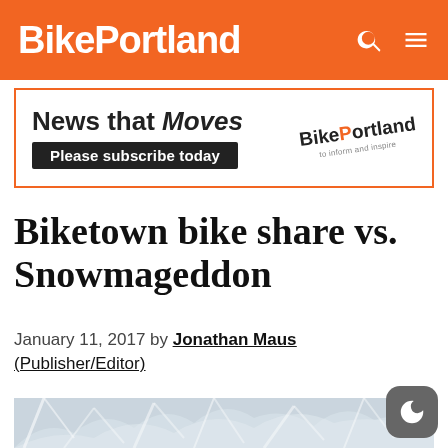BikePortland
[Figure (infographic): Advertisement banner: 'News that Moves' with BikePortland logo and 'Please subscribe today' call to action]
Biketown bike share vs. Snowmageddon
January 11, 2017 by Jonathan Maus (Publisher/Editor)
[Figure (photo): Snow-covered trees or branches in winter, partially visible at bottom of page]